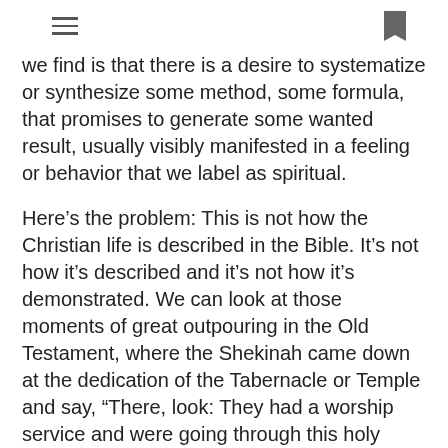we find is that there is a desire to systematize or synthesize some method, some formula, that promises to generate some wanted result, usually visibly manifested in a feeling or behavior that we label as spiritual.
Here’s the problem: This is not how the Christian life is described in the Bible. It’s not how it’s described and it’s not how it’s demonstrated. We can look at those moments of great outpouring in the Old Testament, where the Shekinah came down at the dedication of the Tabernacle or Temple and say, “There, look: They had a worship service and were going through this holy liturgy and God ‘broke out’.” But, the Church is not Israel.